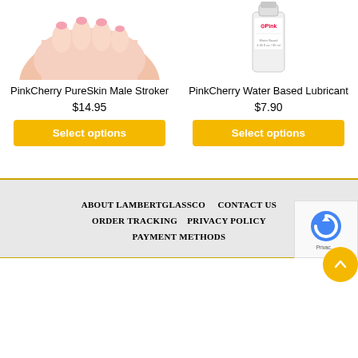[Figure (photo): Product image - PinkCherry PureSkin Male Stroker, showing a hand/flesh-colored toy]
[Figure (photo): Product image - PinkCherry Water Based Lubricant bottle]
PinkCherry PureSkin Male Stroker
$14.95
Select options
PinkCherry Water Based Lubricant
$7.90
Select options
ABOUT LAMBERTGLASSCO   CONTACT US   ORDER TRACKING   PRIVACY POLICY   PAYMENT METHODS